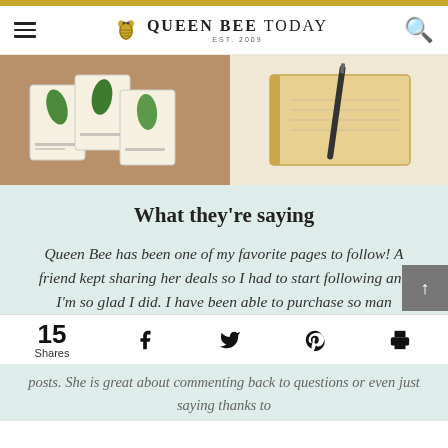QUEEN BEE TODAY EST. 2009
[Figure (photo): Two side-by-side product/lifestyle photos: left shows seed packets with botanical illustrations on a woven surface; right shows a notebook with a pen on a light background.]
What they’re saying
Queen Bee has been one of my favorite pages to follow! A friend kept sharing her deals so I had to start following and I’m so glad I did. I have been able to purchase so man posts. She is great about commenting back to questions or even just saying thanks to
15 Shares
posts. She is great about commenting back to questions or even just saying thanks to